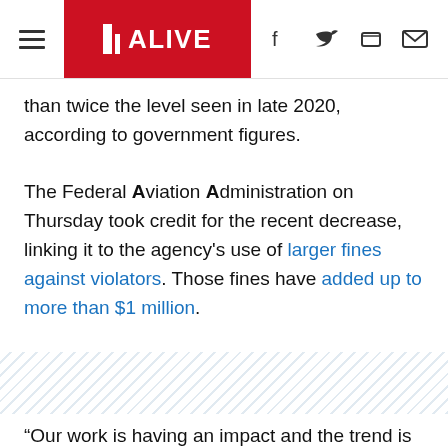11 ALIVE
than twice the level seen in late 2020, according to government figures.
The Federal Aviation Administration on Thursday took credit for the recent decrease, linking it to the agency's use of larger fines against violators. Those fines have added up to more than $1 million.
“Our work is having an impact and the trend is moving in the right direction,” said FAA Administrator Stephen Dickson, “but we need the progress to continue. This remains a serious safety threat.”
At a congressional hearing Thursday, the chairman of the House Transportation Committee, Peter DeFazio, D-Ore